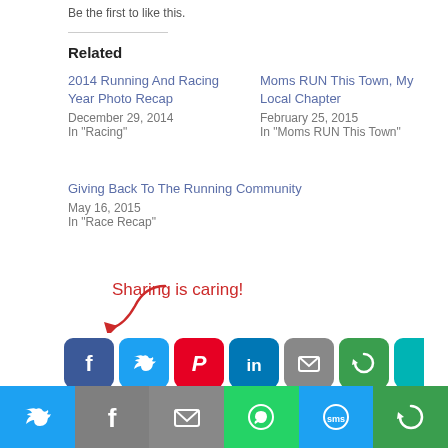Be the first to like this.
Related
2014 Running And Racing Year Photo Recap
December 29, 2014
In "Racing"
Moms RUN This Town, My Local Chapter
February 25, 2015
In "Moms RUN This Town"
Giving Back To The Running Community
May 16, 2015
In "Race Recap"
Sharing is caring!
[Figure (infographic): Social sharing buttons: Facebook, Twitter, Pinterest, LinkedIn, Email, More. Bottom bar with Twitter, Facebook, Email, WhatsApp, SMS, More icons.]